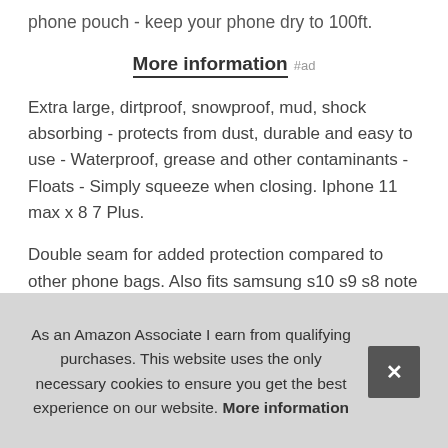phone pouch - keep your phone dry to 100ft.
More information #ad
Extra large, dirtproof, snowproof, mud, shock absorbing - protects from dust, durable and easy to use - Waterproof, grease and other contaminants - Floats - Simply squeeze when closing. Iphone 11 max x 8 7 Plus.
Double seam for added protection compared to other phone bags. Also fits samsung s10 s9 s8 note 10 9 8, Pixel 3 XL & Other Large Phones. Simply squeeze case while closing to create an air gap between pouch and phone for perfect und... repl... can... con...
As an Amazon Associate I earn from qualifying purchases. This website uses the only necessary cookies to ensure you get the best experience on our website. More information